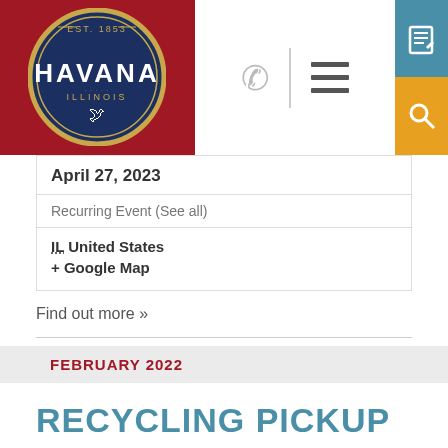[Figure (logo): City of Havana Illinois official seal logo, circular badge with 'EST. 1853' at top, 'HAVANA' in large letters, 'ILLINOIS' below, bird silhouette at bottom, dark navy blue background with gold border]
April 27, 2023
Recurring Event (See all)
IL United States
+ Google Map
Find out more »
FEBRUARY 2022
RECYCLING PICKUP
February 24